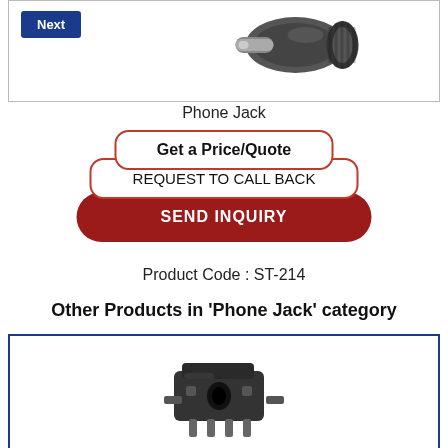[Figure (photo): Product image of a phone jack connector with a blue 'Next' button overlay]
Phone Jack
Get a Price/Quote
REQUEST TO CALL BACK
SEND INQUIRY
Product Code : ST-214
Other Products in 'Phone Jack' category
[Figure (photo): Product image of a small phone jack connector component]